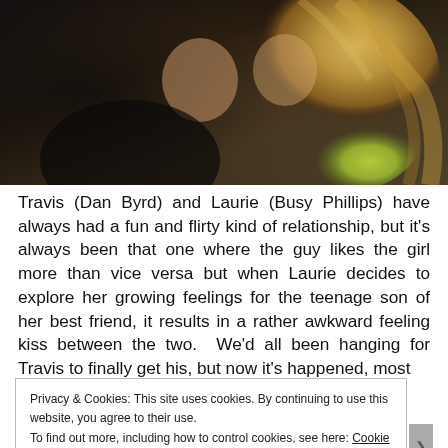[Figure (photo): Two people kissing or embracing closely, one with long blonde hair wearing a yellow/green jacket, the other in dark clothing, photographed outdoors at night or dusk.]
Travis (Dan Byrd) and Laurie (Busy Phillips) have always had a fun and flirty kind of relationship, but it's always been that one where the guy likes the girl more than vice versa but when Laurie decides to explore her growing feelings for the teenage son of her best friend, it results in a rather awkward feeling kiss between the two.  We'd all been hanging for Travis to finally get his, but now it's happened, most
Privacy & Cookies: This site uses cookies. By continuing to use this website, you agree to their use.
To find out more, including how to control cookies, see here: Cookie Policy
Close and accept